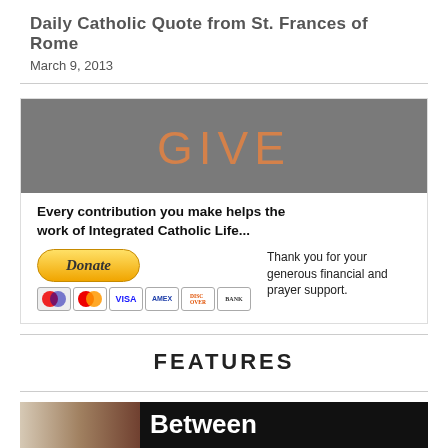Daily Catholic Quote from St. Frances of Rome
March 9, 2013
[Figure (infographic): GIVE banner with gray background and orange text, followed by donation area with PayPal donate button, payment card icons, and text: Every contribution you make helps the work of Integrated Catholic Life... Thank you for your generous financial and prayer support.]
FEATURES
[Figure (photo): Partial photo with beige/brown tones on left and black panel on right showing the word 'Between']